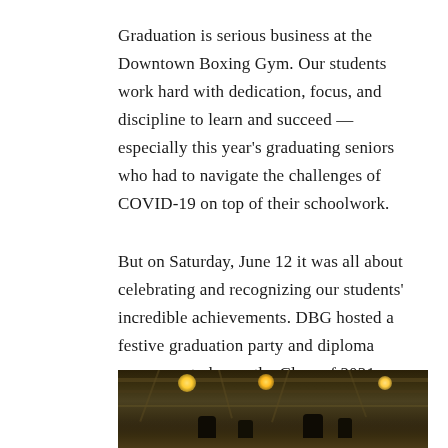Graduation is serious business at the Downtown Boxing Gym. Our students work hard with dedication, focus, and discipline to learn and succeed — especially this year's graduating seniors who had to navigate the challenges of COVID-19 on top of their schoolwork.
But on Saturday, June 12 it was all about celebrating and recognizing our students' incredible achievements. DBG hosted a festive graduation party and diploma ceremony to honor the Class of 2021.
[Figure (photo): Interior photo of the Downtown Boxing Gym showing the ceiling with industrial beams, overhead lights, and people gathered below for a graduation ceremony.]